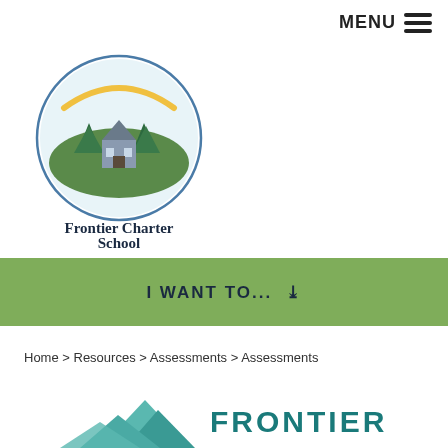MENU ≡
[Figure (logo): Frontier Charter School logo: circular emblem with pine trees and building illustration above the text 'Frontier Charter School']
I WANT TO... ∨
Home > Resources > Assessments > Assessments
Assessments
[Figure (logo): Frontier Charter School bottom logo partially visible: teal mountain/tree shapes and the text 'FRONTIER' in teal bold letters]